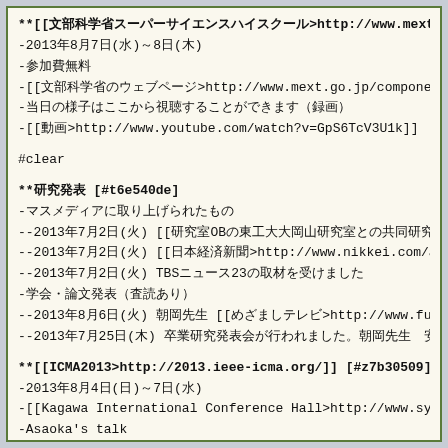**[[文部科学省スーパーサイエンスハイスクール>http://www.mext.go.jp/a_menu/ikusei/kengaku/
-2013年8月7日(水)～8日(木)
-参加費無料
-[[文部科学省のウェブページ>http://www.mext.go.jp/component/a_menu/edu
-当日の様子はここから視聴することができます（録画）
-[[動画>http://www.youtube.com/watch?v=GpS6TcV3U1k]]
#clear
**研究発表 [#t6e540de]
-マスメディアに取り上げられたもの
--2013年7月2日(火) [[研究室OBの東工大大岡山研究室との共同研究　日本経済新聞>http://www.nikkei
--2013年7月2日(火) [[日本経済新聞>http://www.nikkei.com/article/DGXN
--2013年7月2日(火) TBSニュース23の取材を受けました
-学会・論文発表（査読あり）
--2013年8月6日(火) 朝岡先生 [[めざましテレビ>http://www.fujitv.co.jp/meza/]]に
--2013年7月25日(木) 卒業研究発表会が行われました。朝岡先生　安藤先生　伊達先生　田中先生
**[[ICMA2013>http://2013.ieee-icma.org/]] [#z7b30509]
-2013年8月4日(日)～7日(水)
-[[Kagawa International Conference Hall>http://www.symbo
-Asaoka's talk
**[[東京海洋大学マリンサイエンステクノロジー>http://www.tuat.ac.jp/facility/spe/spe_2013